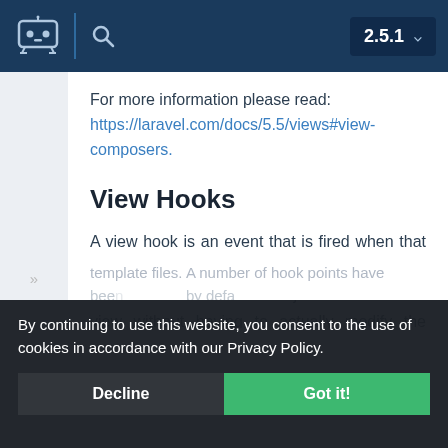2.5.1
For more information please read: https://laravel.com/docs/5.5/views#view-composers.
View Hooks
A view hook is an event that is fired when that line in the template file is being rendered. We can use event listeners to inject HTML into the view without having to actually modify the template itself.
By continuing to use this website, you consent to the use of cookies in accordance with our Privacy Policy.